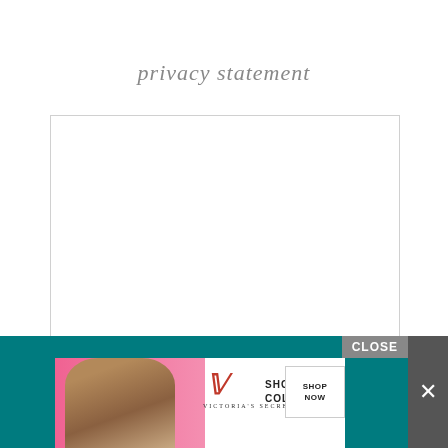privacy statement
[Figure (other): Empty white content box with light gray border, representing a privacy statement content area]
[Figure (other): Advertisement banner for Victoria's Secret Shop The Collection with close button]